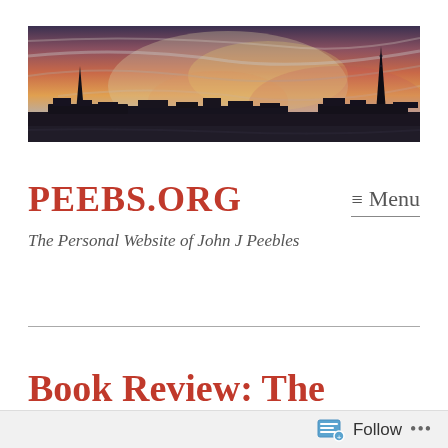[Figure (photo): Wide banner photo showing a city skyline silhouette at sunset with dramatic red, pink, orange, and purple sky. Features a church spire on the left and a tall Gothic monument spire on the right — Edinburgh cityscape.]
PEEBS.ORG
≡ Menu
The Personal Website of John J Peebles
Book Review: The